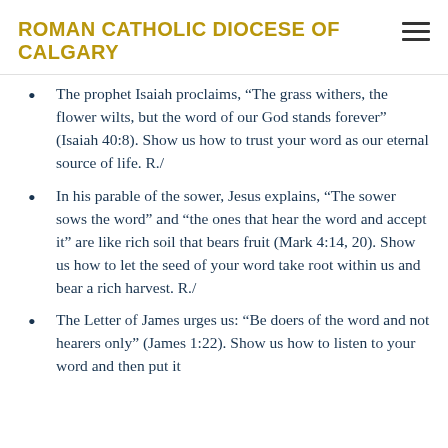ROMAN CATHOLIC DIOCESE OF CALGARY
The prophet Isaiah proclaims, “The grass withers, the flower wilts, but the word of our God stands forever” (Isaiah 40:8). Show us how to trust your word as our eternal source of life. R./
In his parable of the sower, Jesus explains, “The sower sows the word” and “the ones that hear the word and accept it” are like rich soil that bears fruit (Mark 4:14, 20). Show us how to let the seed of your word take root within us and bear a rich harvest. R./
The Letter of James urges us: “Be doers of the word and not hearers only” (James 1:22). Show us how to listen to your word and then put it